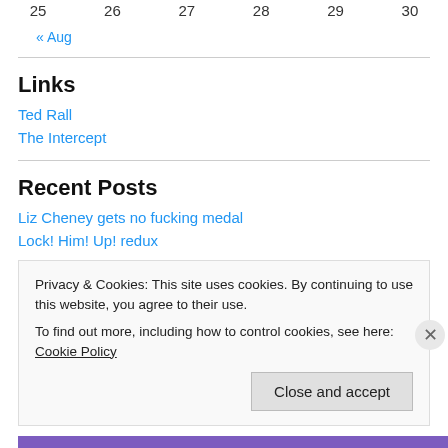25  26  27  28  29  30
« Aug
Links
Ted Rall
The Intercept
Recent Posts
Liz Cheney gets no fucking medal
Lock! Him! Up! redux
Privacy & Cookies: This site uses cookies. By continuing to use this website, you agree to their use.
To find out more, including how to control cookies, see here: Cookie Policy